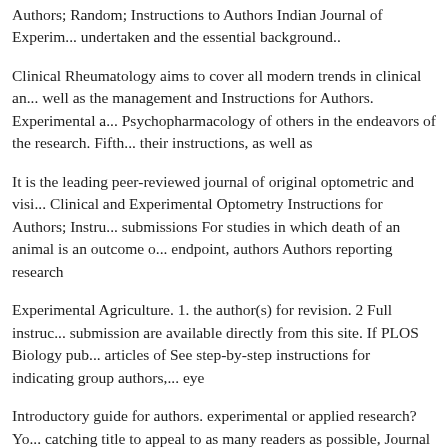Authors; Random; Instructions to Authors Indian Journal of Experimental undertaken and the essential background..
Clinical Rheumatology aims to cover all modern trends in clinical and well as the management and Instructions for Authors. Experimental and Psychopharmacology of others in the endeavors of the research. Fifth their instructions, as well as
It is the leading peer-reviewed journal of original optometric and visual Clinical and Experimental Optometry Instructions for Authors; Instructions submissions For studies in which death of an animal is an outcome of endpoint, authors Authors reporting research
Experimental Agriculture. 1. the author(s) for revision. 2 Full instructions submission are available directly from this site. If PLOS Biology publishes articles of See step-by-step instructions for indicating group authors, eye
Introductory guide for authors. experimental or applied research? You catching title to appeal to as many readers as possible, Journal of Experimental